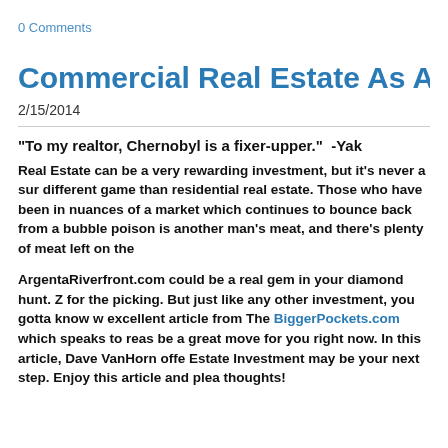0 Comments
Commercial Real Estate As An Investment
2/15/2014
"To my realtor, Chernobyl is a fixer-upper."  -Yak
Real Estate can be a very rewarding investment, but it's never a sure different game than residential real estate. Those who have been in nuances of a market which continues to bounce back from a bubble poison is another man's meat, and there's plenty of meat left on the
ArgentaRiverfront.com could be a real gem in your diamond hunt. for the picking. But just like any other investment, you gotta know w excellent article from The BiggerPockets.com which speaks to reas be a great move for you right now. In this article, Dave VanHorn offe Estate Investment may be your next step. Enjoy this article and plea thoughts!